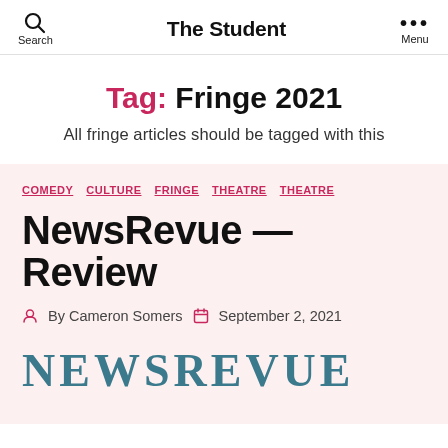The Student
Tag: Fringe 2021
All fringe articles should be tagged with this
COMEDY  CULTURE  FRINGE  THEATRE  THEATRE
NewsRevue — Review
By Cameron Somers   September 2, 2021
[Figure (screenshot): Partial image of NewsRevue logo/title card at bottom of page]